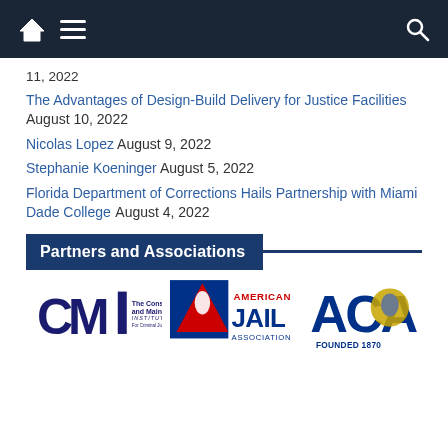Navigation bar with home, menu, and search icons
11, 2022
The Advantages of Design-Build Delivery for Justice Facilities August 10, 2022
Nicolas Lopez August 9, 2022
Stephanie Koeninger August 5, 2022
Florida Department of Corrections Hails Partnership with Miami Dade College August 4, 2022
Partners and Associations
[Figure (logo): Logos of CMI (The Construction and Maintenance Institute For Criminal Justice Agencies), American Jail Association, and ACA Founded 1870]